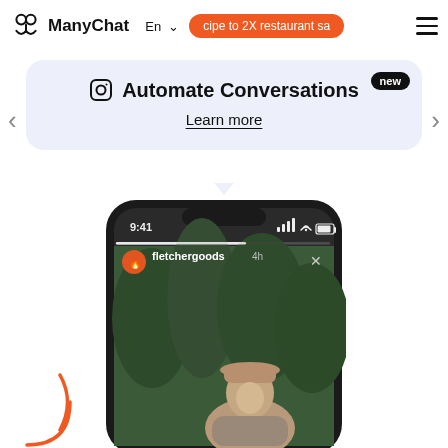ManyChat | En | cipe to 2X restaurant sa... | menu
new
Automate Conversations
Learn more
[Figure (screenshot): Smartphone mockup showing an Instagram story from user 'fletchergoods' posted 4h ago, featuring a woman wearing a beige cap outdoors in a forest setting. The phone displays 9:41 time and full signal/wifi/battery status.]